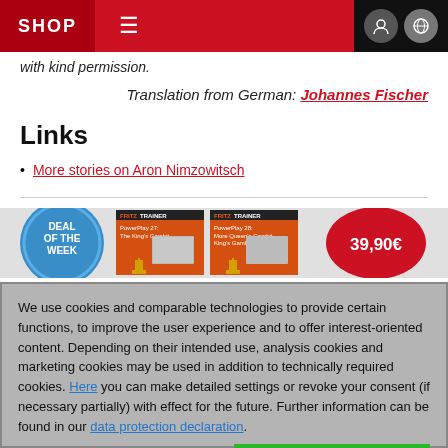SHOP
with kind permission.
Translation from German: Johannes Fischer
Links
More stories on Aron Nimzowitsch
[Figure (infographic): Deal of the Week banner with two FritzTrainer product boxes and a red price badge showing 39,90€]
We use cookies and comparable technologies to provide certain functions, to improve the user experience and to offer interest-oriented content. Depending on their intended use, analysis cookies and marketing cookies may be used in addition to technically required cookies. Here you can make detailed settings or revoke your consent (if necessary partially) with effect for the future. Further information can be found in our data protection declaration.